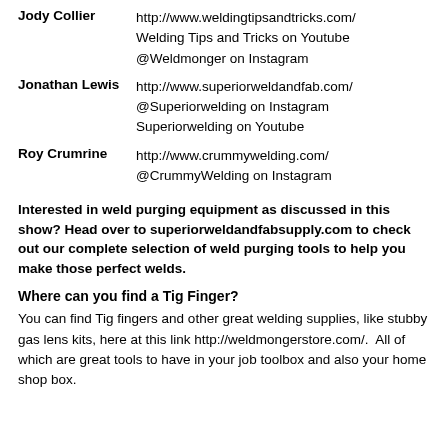Jody Collier
http://www.weldingtipsandtricks.com/
Welding Tips and Tricks on Youtube
@Weldmonger on Instagram
Jonathan Lewis
http://www.superiorweldandfab.com/
@Superiorwelding on Instagram
Superiorwelding on Youtube
Roy Crumrine
http://www.crummywelding.com/
@CrummyWelding on Instagram
Interested in weld purging equipment as discussed in this show? Head over to superiorweldandfabsupply.com to check out our complete selection of weld purging tools to help you make those perfect welds.
Where can you find a Tig Finger?
You can find Tig fingers and other great welding supplies, like stubby gas lens kits, here at this link http://weldmongerstore.com/.  All of which are great tools to have in your job toolbox and also your home shop box.